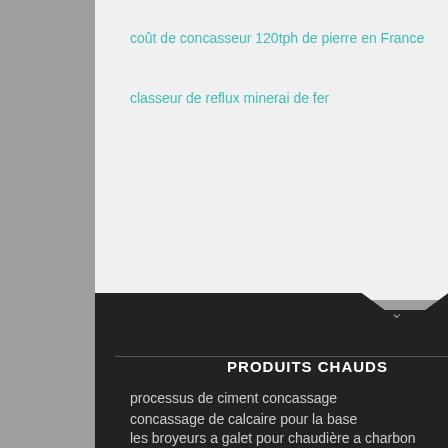coût de concasseur 120tph de pierre en France
classeur de reflux minerai de fer
PRODUITS CHAUDS
processus de ciment concassage
concassage de calcaire pour la base
les broyeurs a galet pour chaudière a charbon
diagramme de flux de procédé de kaolin calciné
machine a broyer marbre
[Figure (photo): Customer service agent wearing headset, with '24/7 hour online' header in orange, a 'Click to' button, an Enquiry section, and email superbrian707@gmail.com displayed. A blue chat bubble icon overlaps.]